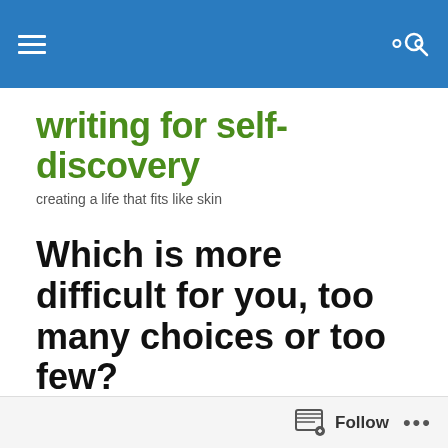writing for self-discovery [navigation bar with menu and search icons]
writing for self-discovery
creating a life that fits like skin
Which is more difficult for you, too many choices or too few?
Do you love having a multitude of options and revel in the process of narrowing them down to a single, perfect choice? Or are you happiest when provided with only two so you can flip a coin? You may say, “Well, that depends…” But you know what? Not really.
Follow •••